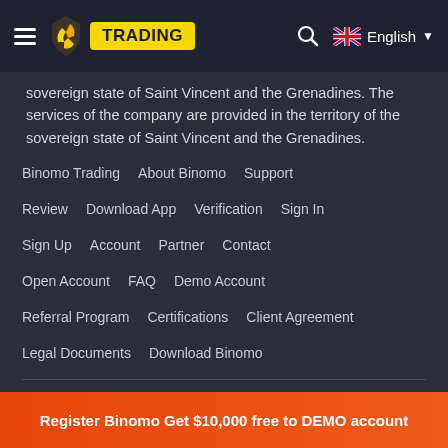TRADING | English
sovereign state of Saint Vincent and the Grenadines. The services of the company are provided in the territory of the sovereign state of Saint Vincent and the Grenadines.
Binomo Trading
About Binomo
Support
Review
Download App
Verification
Sign In
Sign Up
Account
Partner
Contact
Open Account
FAQ
Demo Account
Referral Program
Certifications
Client Agreement
Legal Documents
Download Binomo
Privacy Policy | Terms and Conditions | Contact Binomo
Register Binomo Get $10,000 free to DEMO account